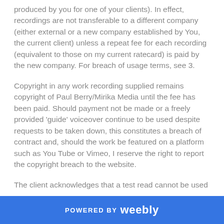produced by you for one of your clients). In effect, recordings are not transferable to a different company (either external or a new company established by You, the current client) unless a repeat fee for each recording (equivalent to those on my current ratecard) is paid by the new company. For breach of usage terms, see 3.
Copyright in any work recording supplied remains copyright of Paul Berry/Mirika Media until the fee has been paid. Should payment not be made or a freely provided 'guide' voiceover continue to be used despite requests to be taken down, this constitutes a breach of contract and, should the work be featured on a platform such as You Tube or Vimeo, I reserve the right to report the copyright breach to the website.
The client acknowledges that a test read cannot be used
POWERED BY weebly